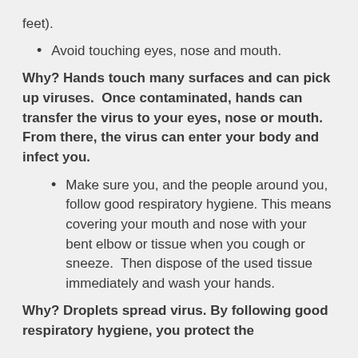feet).
Avoid touching eyes, nose and mouth.
Why? Hands touch many surfaces and can pick up viruses.  Once contaminated, hands can transfer the virus to your eyes, nose or mouth. From there, the virus can enter your body and infect you.
Make sure you, and the people around you, follow good respiratory hygiene. This means covering your mouth and nose with your bent elbow or tissue when you cough or sneeze.  Then dispose of the used tissue immediately and wash your hands.
Why? Droplets spread virus. By following good respiratory hygiene, you protect the